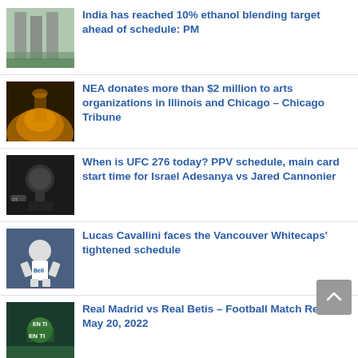India has reached 10% ethanol blending target ahead of schedule: PM
NEA donates more than $2 million to arts organizations in Illinois and Chicago – Chicago Tribune
When is UFC 276 today? PPV schedule, main card start time for Israel Adesanya vs Jared Cannonier
Lucas Cavallini faces the Vancouver Whitecaps' tightened schedule
Real Madrid vs Real Betis – Football Match Report – May 20, 2022